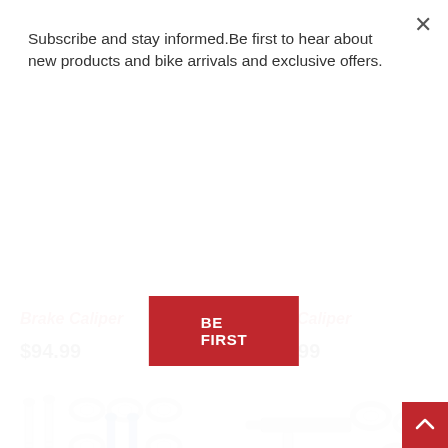Subscribe and stay informed.Be first to hear about new products and bike arrivals and exclusive offers.
BE FIRST
Brake Caliper
$94.99
Brake Caliper
$187.99
[Figure (photo): Brake caliper bolts and washers hardware kit — multiple screws and metal washers laid out flat]
[Figure (photo): Brake caliper hardware components — T-shaped tool or part with metal washers scattered around it]